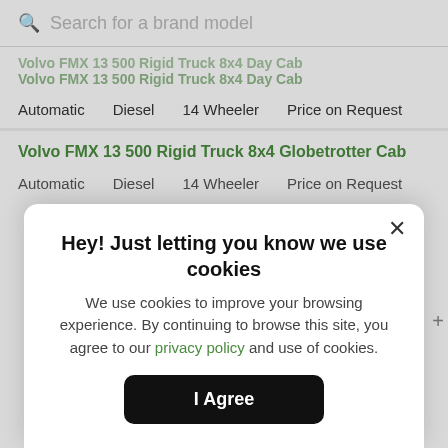Search for a brand model
Volvo FMX 13 500 Rigid Truck 8x4 Day Cab
Automatic   Diesel   14 Wheeler   Price on Request
Volvo FMX 13 500 Rigid Truck 8x4 Globetrotter Cab
Automatic   Diesel   14 Wheeler   Price on Request
Hey! Just letting you know we use cookies
We use cookies to improve your browsing experience. By continuing to browse this site, you agree to our privacy policy and use of cookies.
I Agree